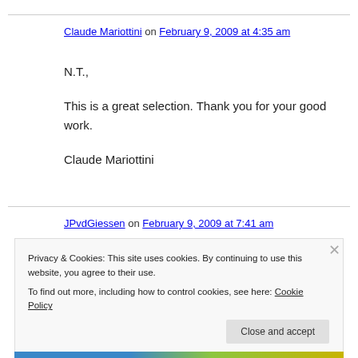Claude Mariottini on February 9, 2009 at 4:35 am
N.T.,

This is a great selection. Thank you for your good work.

Claude Mariottini
JPvdGiessen on February 9, 2009 at 7:41 am
Privacy & Cookies: This site uses cookies. By continuing to use this website, you agree to their use.
To find out more, including how to control cookies, see here: Cookie Policy
Close and accept